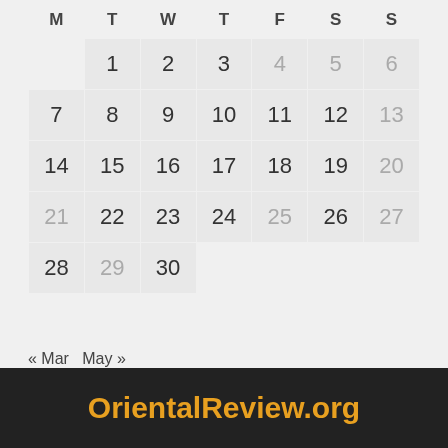| M | T | W | T | F | S | S |
| --- | --- | --- | --- | --- | --- | --- |
|  | 1 | 2 | 3 | 4 | 5 | 6 |
| 7 | 8 | 9 | 10 | 11 | 12 | 13 |
| 14 | 15 | 16 | 17 | 18 | 19 | 20 |
| 21 | 22 | 23 | 24 | 25 | 26 | 27 |
| 28 | 29 | 30 |  |  |  |  |
« Mar  May »
OrientalReview.org